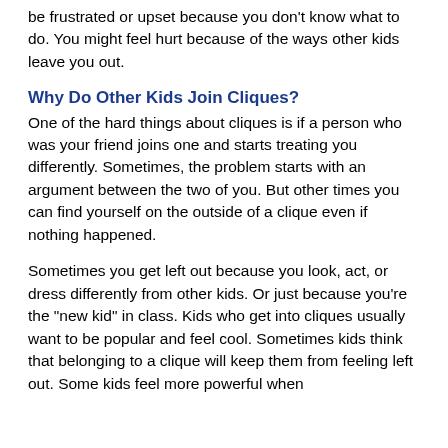be frustrated or upset because you don't know what to do. You might feel hurt because of the ways other kids leave you out.
Why Do Other Kids Join Cliques?
One of the hard things about cliques is if a person who was your friend joins one and starts treating you differently. Sometimes, the problem starts with an argument between the two of you. But other times you can find yourself on the outside of a clique even if nothing happened.
Sometimes you get left out because you look, act, or dress differently from other kids. Or just because you're the "new kid" in class. Kids who get into cliques usually want to be popular and feel cool. Sometimes kids think that belonging to a clique will keep them from feeling left out. Some kids feel more powerful when